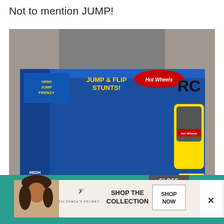Not to mention JUMP!
[Figure (photo): Person holding a Hot Wheels RC High Jump Frenzy Jump & Flip Stunts toy car box. The box is blue and shows a red RC buggy car with large wheels, a yellow remote control, and the Hot Wheels RC branding. Text on box: HIGH JUMP FRENZY, FULL FUNCTION RC, JUMP & FLIP STUNTS!, 360 SPINS. Watermark: © 2014 DearCreatives.com]
It's package is good sized, clear and the car
[Figure (infographic): Victoria's Secret advertisement banner. Shows a woman with curly hair, Victoria's Secret logo, text: SHOP THE COLLECTION, and a SHOP NOW button. Has a CLOSE button and X dismiss button. Teal/pink background.]